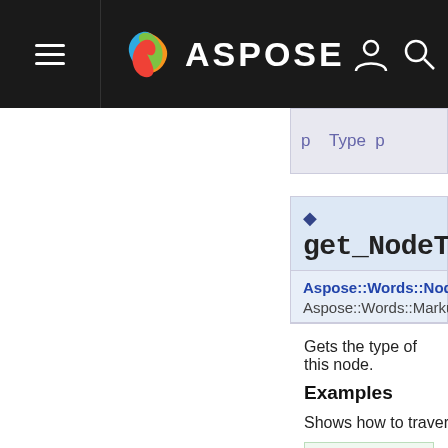ASPOSE
get_NodeType()
Aspose::Words::NodeType
Aspose::Words::Markup::Str
Gets the type of this node.
Examples
Shows how to traverse a co
void RecurseChildren
{
    auto doc = Make

    // Any node tha